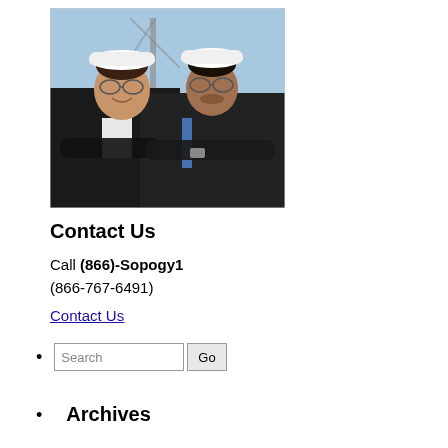[Figure (photo): Two engineers wearing white hard hats and dark suits, standing with arms crossed in front of a construction site background. A woman on the left is smiling; a man on the right wears glasses.]
Contact Us
Call (866)-Sopogy1 (866-767-6491)
Contact Us
Search  Go
Archives